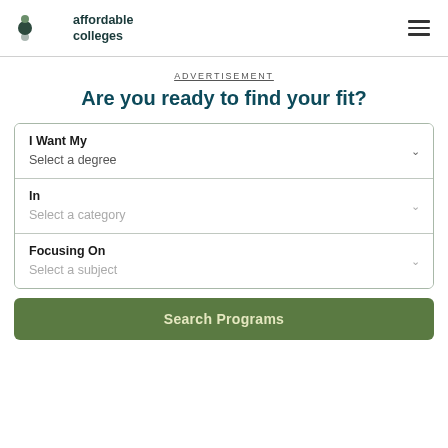affordable colleges
ADVERTISEMENT
Are you ready to find your fit?
I Want My
Select a degree
In
Select a category
Focusing On
Select a subject
Search Programs